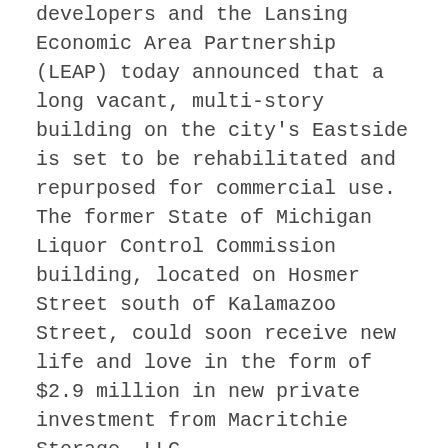developers and the Lansing Economic Area Partnership (LEAP) today announced that a long vacant, multi-story building on the city's Eastside is set to be rehabilitated and repurposed for commercial use. The former State of Michigan Liquor Control Commission building, located on Hosmer Street south of Kalamazoo Street, could soon receive new life and love in the form of $2.9 million in new private investment from Macritchie Storage, LLC.
“Once again we have a great opportunity to transform an abandoned, dilapidated building into a viable commercial facility,” said Mayor Virg Bernero.  “This is yet another example of the power of economic incentives to take dead buildings that no one will redevelop due to the extraordinary costs and put that